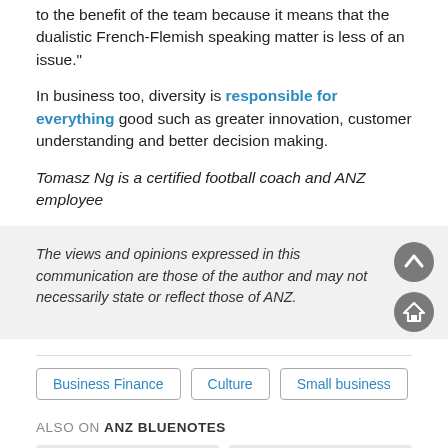to the benefit of the team because it means that the dualistic French-Flemish speaking matter is less of an issue."
In business too, diversity is responsible for everything good such as greater innovation, customer understanding and better decision making.
Tomasz Ng is a certified football coach and ANZ employee
The views and opinions expressed in this communication are those of the author and may not necessarily state or reflect those of ANZ.
Business Finance
Culture
Small business
ALSO ON ANZ BLUENOTES